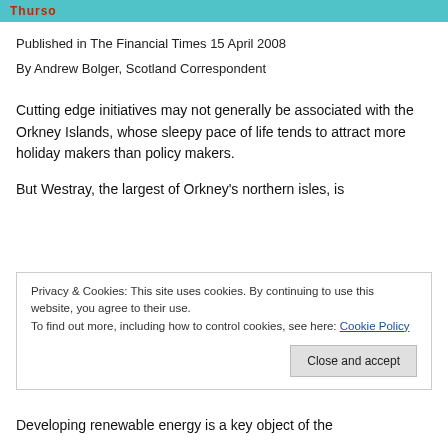Thurso
Published in The Financial Times 15 April 2008
By Andrew Bolger, Scotland Correspondent
Cutting edge initiatives may not generally be associated with the Orkney Islands, whose sleepy pace of life tends to attract more holiday makers than policy makers.
But Westray, the largest of Orkney's northern isles, is
[Figure (other): Cookie consent overlay popup reading: Privacy & Cookies: This site uses cookies. By continuing to use this website, you agree to their use. To find out more, including how to control cookies, see here: Cookie Policy. With a 'Close and accept' button.]
Developing renewable energy is a key object of the